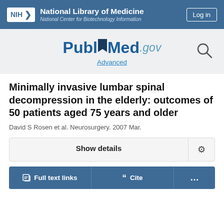NIH National Library of Medicine National Center for Biotechnology Information | Log in
[Figure (logo): PubMed.gov logo with Advanced search link and search icon]
Minimally invasive lumbar spinal decompression in the elderly: outcomes of 50 patients aged 75 years and older
David S Rosen et al. Neurosurgery. 2007 Mar.
Show details
Full text links | Cite | ...